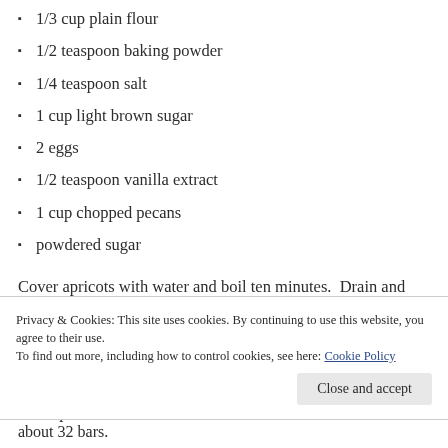1/3 cup plain flour
1/2 teaspoon baking powder
1/4 teaspoon salt
1 cup light brown sugar
2 eggs
1/2 teaspoon vanilla extract
1 cup chopped pecans
powdered sugar
Cover apricots with water and boil ten minutes.  Drain and chop.  Preheat oven to 350 degrees.  Line a 9 x 9 inch baking pan with parchment paper.  Mix butter, granulated sugar, and sifted flour until crumbly.  I used a pastry blender.  Pack into parchment lined pan.  I covered with wax paper then packed in the pan.  Bake 25 minutes or until
Privacy & Cookies: This site uses cookies. By continuing to use this website, you agree to their use.
To find out more, including how to control cookies, see here: Cookie Policy
about 32 bars.